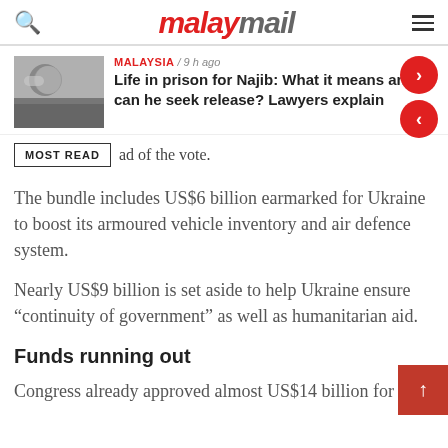malaymail
[Figure (screenshot): News article thumbnail showing a man wearing a mask, alongside navigation carousel buttons (next and previous)]
MALAYSIA / 9 h ago
Life in prison for Najib: What it means and can he seek release? Lawyers explain
MOST READ
ad of the vote.
The bundle includes US$6 billion earmarked for Ukraine to boost its armoured vehicle inventory and air defence system.
Nearly US$9 billion is set aside to help Ukraine ensure “continuity of government” as well as humanitarian aid.
Funds running out
Congress already approved almost US$14 billion for